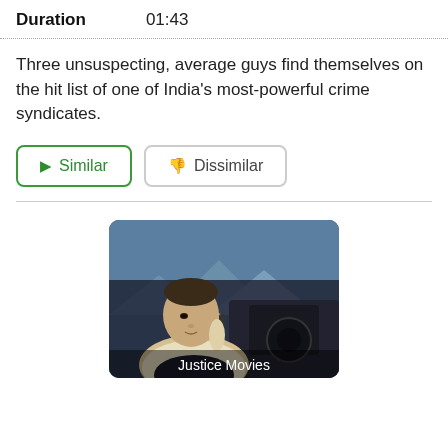| Duration | 01:43 |
| --- | --- |
Three unsuspecting, average guys find themselves on the hit list of one of India's most-powerful crime syndicates.
Similar | Dissimilar
[Figure (photo): A man sitting in a car, talking on a phone, with mountains in the background. A label reads 'Justice Movies' at the bottom.]